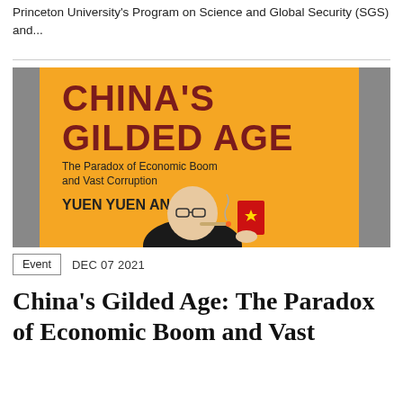Princeton University's Program on Science and Global Security (SGS) and...
[Figure (illustration): Book cover of 'China's Gilded Age: The Paradox of Economic Boom and Vast Corruption' by Yuen Yuen Ang. Orange background with bold dark red title text and an illustration of a man in a suit smoking a cigar and holding a red book with a Chinese flag star emblem.]
Event   DEC 07 2021
China's Gilded Age: The Paradox of Economic Boom and Vast